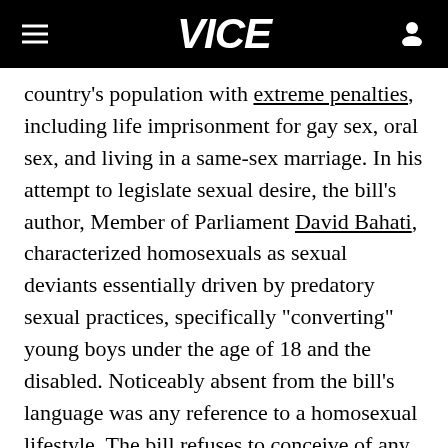VICE
country's population with extreme penalties, including life imprisonment for gay sex, oral sex, and living in a same-sex marriage. In his attempt to legislate sexual desire, the bill's author, Member of Parliament David Bahati, characterized homosexuals as sexual deviants essentially driven by predatory sexual practices, specifically "converting" young boys under the age of 18 and the disabled. Noticeably absent from the bill's language was any reference to a homosexual lifestyle. The bill refuses to conceive of any scenario where two gay or lesbian Ugandans could together as adults for